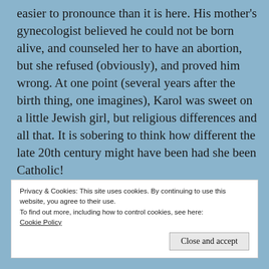easier to pronounce than it is here. His mother's gynecologist believed he could not be born alive, and counseled her to have an abortion, but she refused (obviously), and proved him wrong. At one point (several years after the birth thing, one imagines), Karol was sweet on a little Jewish girl, but religious differences and all that. It is sobering to think how different the late 20th century might have been had she been Catholic!
Privacy & Cookies: This site uses cookies. By continuing to use this website, you agree to their use.
To find out more, including how to control cookies, see here: Cookie Policy
Close and accept